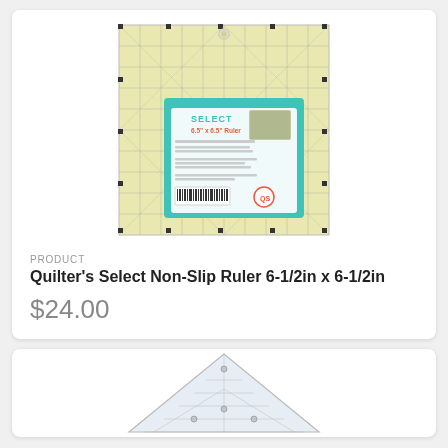[Figure (photo): Product photo of a Quilter's Select Non-Slip Ruler 6-1/2in x 6-1/2in, showing a yellow grid ruler with a teal packaging label]
PRODUCT
Quilter's Select Non-Slip Ruler 6-1/2in x 6-1/2in
$24.00
[Figure (photo): Partial image of a clear triangular quilting ruler]